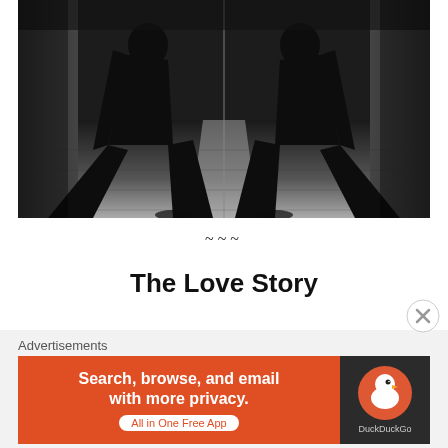[Figure (photo): Black and white silhouette photo of a dancer or gymnast in a wide straddle split on a wooden floor in a dark hallway, mirrored symmetrically.]
~~~
The Love Story
[Figure (other): Close button (X in circle) overlay]
Advertisements
[Figure (other): DuckDuckGo advertisement banner: 'Search, browse, and email with more privacy. All in One Free App' with DuckDuckGo logo on dark background.]